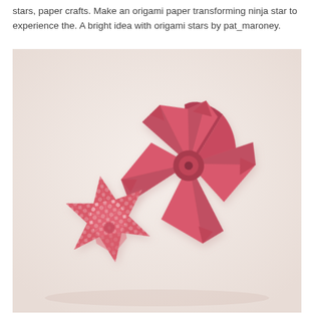stars, paper crafts. Make an origami paper transforming ninja star to experience the. A bright idea with origami stars by pat_maroney.
[Figure (photo): Photograph of two origami paper stars on a light background. The left star is smaller, made from pink patterned paper with white floral designs, and has six pointed tips. The right star is larger, made from solid dark pink/red paper, with five broad petals and pointed tips arranged in a star/flower shape.]